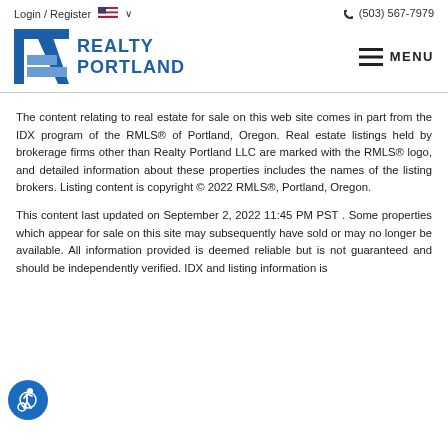Login / Register   🇺🇸 ∨        ☎ (503) 567-7979
[Figure (logo): Realty Portland logo with stylized R in blue and text REALTY PORTLAND in blue]
[Figure (other): Hamburger menu icon with MENU text]
The content relating to real estate for sale on this web site comes in part from the IDX program of the RMLS® of Portland, Oregon. Real estate listings held by brokerage firms other than Realty Portland LLC are marked with the RMLS® logo, and detailed information about these properties includes the names of the listing brokers. Listing content is copyright © 2022 RMLS®, Portland, Oregon.
This content last updated on September 2, 2022 11:45 PM PST . Some properties which appear for sale on this site may subsequently have sold or may no longer be available. All information provided is deemed reliable but is not guaranteed and should be independently verified. IDX and listing information is
[Figure (illustration): Blue circular accessibility icon with wheelchair user symbol]